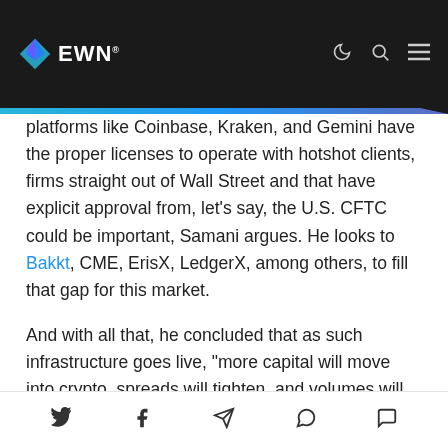EWN
platforms like Coinbase, Kraken, and Gemini have the proper licenses to operate with hotshot clients, firms straight out of Wall Street and that have explicit approval from, let's say, the U.S. CFTC could be important, Samani argues. He looks to Bakkt, CME, ErisX, LedgerX, among others, to fill that gap for this market.
And with all that, he concluded that as such infrastructure goes live, “more capital will move into crypto, spreads will tighten, and volumes will grow. The pace of market development is compounding rapidly.
Photo by Samson Creative. on Unsplash
Social share icons: Twitter, Facebook, Telegram, WhatsApp, Messenger